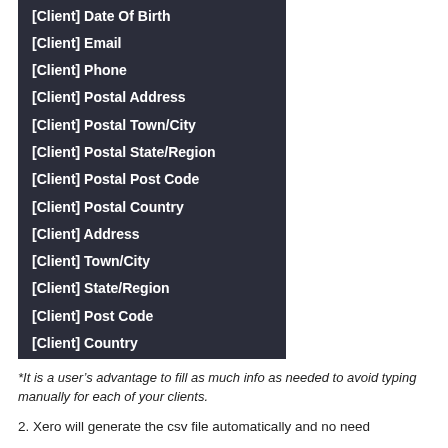[Client] Date Of Birth
[Client] Email
[Client] Phone
[Client] Postal Address
[Client] Postal Town/City
[Client] Postal State/Region
[Client] Postal Post Code
[Client] Postal Country
[Client] Address
[Client] Town/City
[Client] State/Region
[Client] Post Code
[Client] Country
*It is a user’s advantage to fill as much info as needed to avoid typing manually for each of your clients.
2. Xero will generate the csv file automatically and no need